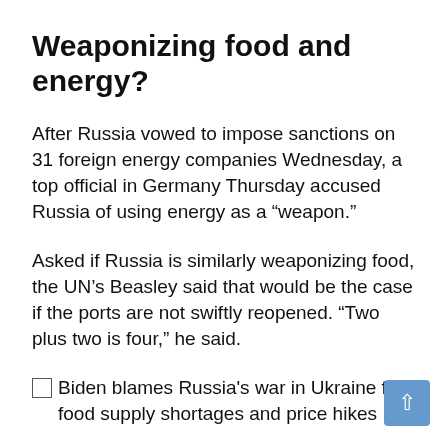Weaponizing food and energy?
After Russia vowed to impose sanctions on 31 foreign energy companies Wednesday, a top official in Germany Thursday accused Russia of using energy as a “weapon.”
Asked if Russia is similarly weaponizing food, the UN’s Beasley said that would be the case if the ports are not swiftly reopened. “Two plus two is four,” he said.
Biden blames Russia&#39;s war in Ukraine for food supply shortages and price hikes
But unblocking the ports won’t be easy. Not only are they defended by mines and battleships,